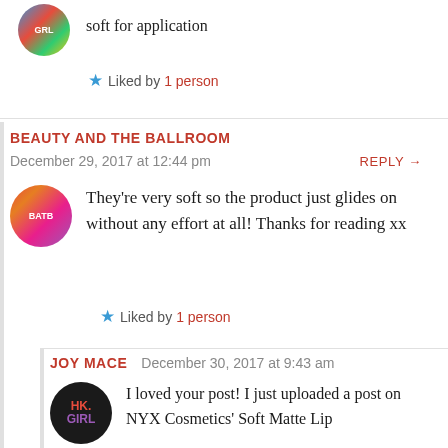soft for application
Liked by 1 person
BEAUTY AND THE BALLROOM
December 29, 2017 at 12:44 pm
REPLY →
They're very soft so the product just glides on without any effort at all! Thanks for reading xx
Liked by 1 person
JOY MACE
December 30, 2017 at 9:43 am
I loved your post! I just uploaded a post on NYX Cosmetics' Soft Matte Lip